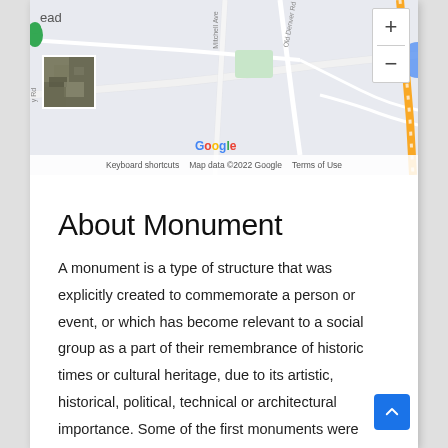[Figure (map): Google Maps screenshot showing street map with Mitchell Ave, Old Denver Rd roads visible, plus/minus zoom controls, Google logo, and a small satellite thumbnail image in the lower left. Map footer shows: Keyboard shortcuts | Map data ©2022 Google | Terms of Use]
About Monument
A monument is a type of structure that was explicitly created to commemorate a person or event, or which has become relevant to a social group as a part of their remembrance of historic times or cultural heritage, due to its artistic, historical, political, technical or architectural importance. Some of the first monuments were dolmens or menhirs,